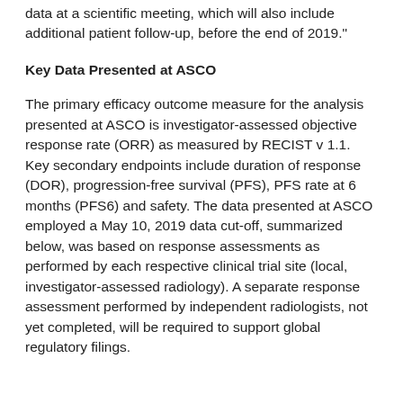data at a scientific meeting, which will also include additional patient follow-up, before the end of 2019."
Key Data Presented at ASCO
The primary efficacy outcome measure for the analysis presented at ASCO is investigator-assessed objective response rate (ORR) as measured by RECIST v 1.1. Key secondary endpoints include duration of response (DOR), progression-free survival (PFS), PFS rate at 6 months (PFS6) and safety. The data presented at ASCO employed a May 10, 2019 data cut-off, summarized below, was based on response assessments as performed by each respective clinical trial site (local, investigator-assessed radiology). A separate response assessment performed by independent radiologists, not yet completed, will be required to support global regulatory filings.